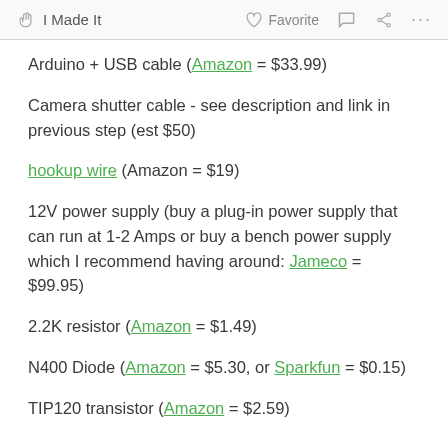I Made It   Favorite   ... ...
Arduino + USB cable (Amazon = $33.99)
Camera shutter cable - see description and link in previous step (est $50)
hookup wire (Amazon = $19)
12V power supply (buy a plug-in power supply that can run at 1-2 Amps or buy a bench power supply which I recommend having around: Jameco = $99.95)
2.2K resistor (Amazon = $1.49)
N400 Diode (Amazon = $5.30, or Sparkfun = $0.15)
TIP120 transistor (Amazon = $2.59)